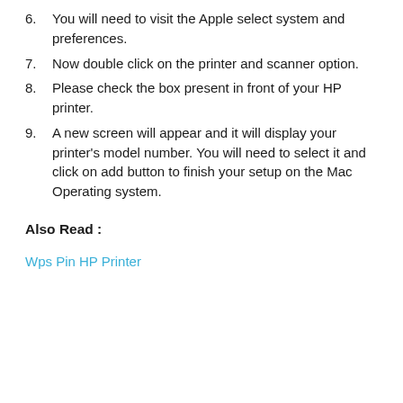6. You will need to visit the Apple select system and preferences.
7. Now double click on the printer and scanner option.
8. Please check the box present in front of your HP printer.
9. A new screen will appear and it will display your printer's model number. You will need to select it and click on add button to finish your setup on the Mac Operating system.
Also Read :
Wps Pin HP Printer